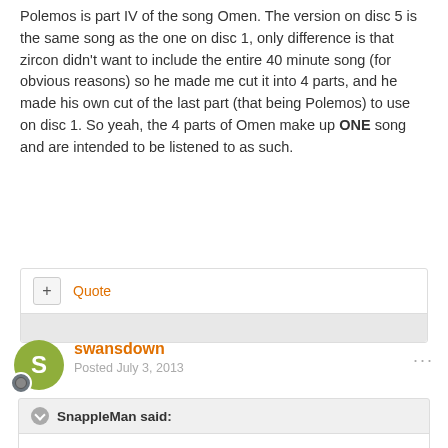Polemos is part IV of the song Omen. The version on disc 5 is the same song as the one on disc 1, only difference is that zircon didn't want to include the entire 40 minute song (for obvious reasons) so he made me cut it into 4 parts, and he made his own cut of the last part (that being Polemos) to use on disc 1. So yeah, the 4 parts of Omen make up ONE song and are intended to be listened to as such.
Quote
swansdown
Posted July 3, 2013
SnappleMan said:
Polemos is part IV of the song Omen. The version on disc 5 is the same song as the one on disc 1, only difference is that zircon didn't want to include the entire 40 minute song (for obvious reasons) so he made me cut it into 4 parts, and he made his own cut of the last part (that being Polemos) to use on disc 1. So